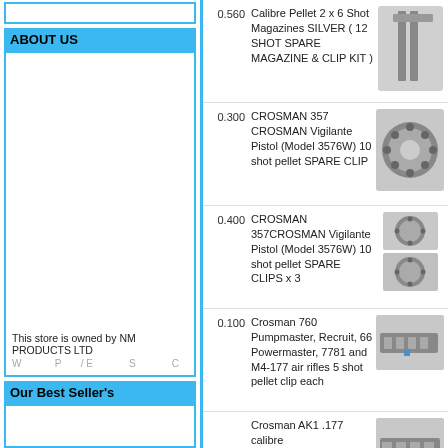ABOUT US
This store is owned by NM PRODUCTS LTD
Our Best Seller's
0.560  Calibre Pellet 2 x 6 Shot Magazines SILVER ( 12 SHOT SPARE MAGAZINE & CLIP KIT )
0.300  CROSMAN 357 CROSMAN Vigilante Pistol (Model 3576W) 10 shot pellet SPARE CLIP
0.400  CROSMAN 357CROSMAN Vigilante Pistol (Model 3576W) 10 shot pellet SPARE CLIPS x 3
0.100  Crosman 760 Pumpmaster, Recruit, 66 Powermaster, 7781 and M4-177 air rifles 5 shot pellet clip each
Crosman AK1 .177 calibre